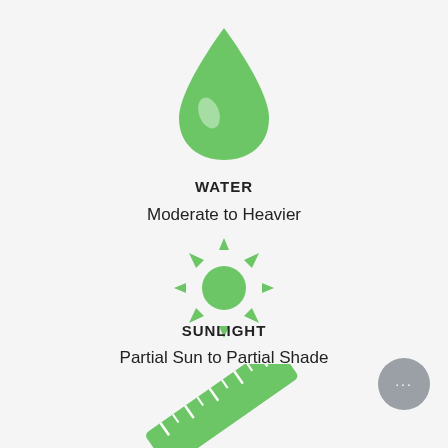[Figure (illustration): Green water drop icon centered near top of page]
WATER
Moderate to Heavier
[Figure (illustration): Green sun icon with rays, centered in middle of page]
SUNLIGHT
Partial Sun to Partial Shade
[Figure (illustration): Green ruler icon, partially visible at bottom of page]
[Figure (illustration): Gray circular chat button with ellipsis, bottom right corner]